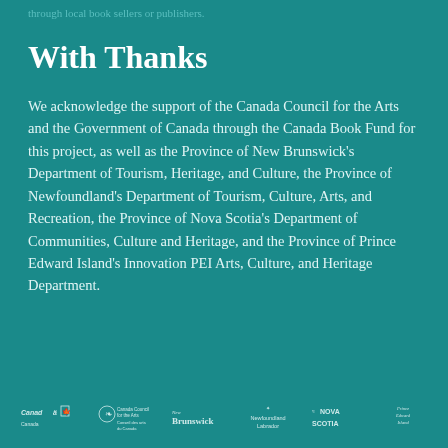through local book sellers or publishers.
With Thanks
We acknowledge the support of the Canada Council for the Arts and the Government of Canada through the Canada Book Fund for this project, as well as the Province of New Brunswick's Department of Tourism, Heritage, and Culture, the Province of Newfoundland's Department of Tourism, Culture, Arts, and Recreation, the Province of Nova Scotia's Department of Communities, Culture and Heritage, and the Province of Prince Edward Island's Innovation PEI Arts, Culture, and Heritage Department.
[Figure (logo): Row of government logos: Canada wordmark, Canada Council for the Arts / Conseil des arts du Canada, New Brunswick, Newfoundland Labrador, Nova Scotia, Prince Edward Island]